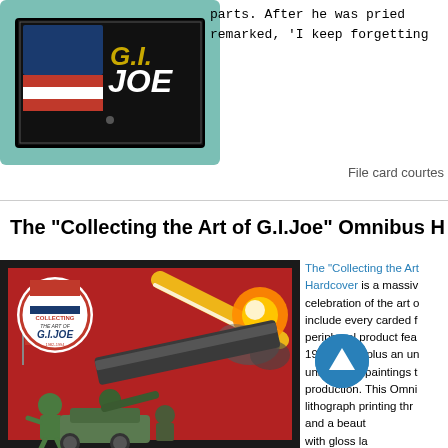[Figure (photo): G.I. Joe file card on teal/mint background, showing black card with G.I.JOE logo]
parts. After he was pried remarked, 'I keep forgetting
File card courtes
The "Collecting the Art of G.I.Joe" Omnibus H
[Figure (photo): The Art of G.I. Joe book cover showing soldiers in action with cannon firing, American flag, on red background with G.I. Joe logo badge]
The "Collecting the Art of G.I. Joe" Omnibus Hardcover is a massive celebration of the art of include every carded f peripheral product fea 1982-1994, plus an un unreleased paintings t production. This Omni lithograph printing thr and a beaut co with gloss lar n. with printing technolog professional grade bo